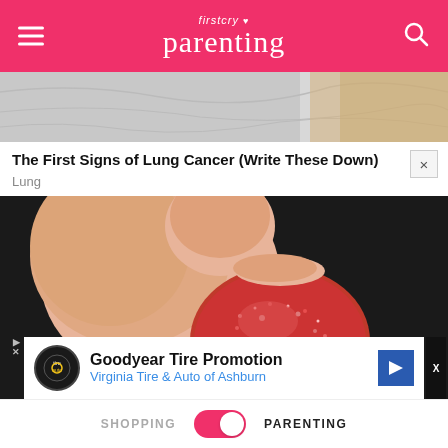firstcry Parenting
[Figure (photo): Partial image of fabric/cloth material, top portion of an advertisement]
The First Signs of Lung Cancer (Write These Down)
Lung
[Figure (photo): A hand holding a red sugar-coated candy/gummy against a dark background]
Goodyear Tire Promotion
Virginia Tire & Auto of Ashburn
SHOPPING   PARENTING